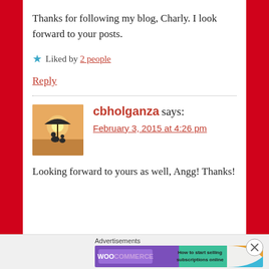Thanks for following my blog, Charly. I look forward to your posts.
★ Liked by 2 people
Reply
cbholganza says:
February 3, 2015 at 4:26 pm
Looking forward to yours as well, Angg! Thanks!
Advertisements